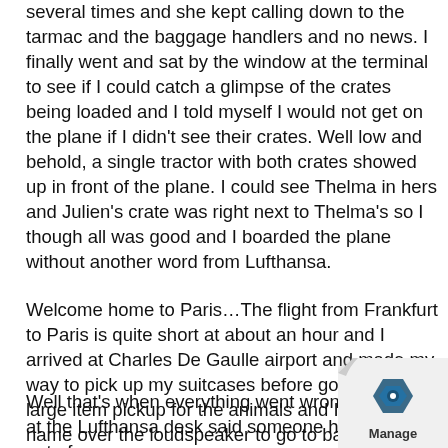several times and she kept calling down to the tarmac and the baggage handlers and no news. I finally went and sat by the window at the terminal to see if I could catch a glimpse of the crates being loaded and I told myself I would not get on the plane if I didn't see their crates. Well low and behold, a single tractor with both crates showed up in front of the plane. I could see Thelma in hers and Julien's crate was right next to Thelma's so I though all was good and I boarded the plane without another word from Lufthansa.
Welcome home to Paris…The flight from Frankfurt to Paris is quite short at about an hour and I arrived at Charles De Gaulle airport and made my way to pick up my suitcases before going to the large item pickup for the animals and I heard my name over the loudspeaker to go to baggage area one and I assumed it was just to get my cat and dog.
Well that's when everything went wrong. The lady at the Lufthansa desk said someone had let Julien out of
[Figure (logo): Manage logo badge with blue hexagon icon and 'Manage' text on a curled paper corner overlay]